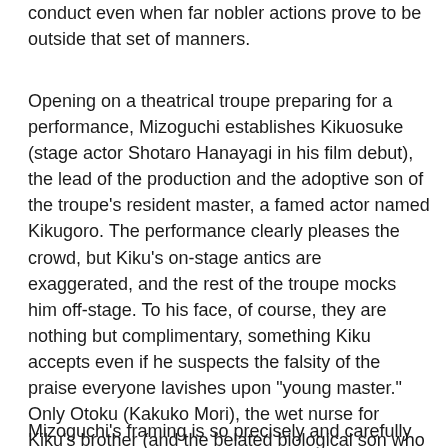conduct even when far nobler actions prove to be outside that set of manners.
Opening on a theatrical troupe preparing for a performance, Mizoguchi establishes Kikuosuke (stage actor Shotaro Hanayagi in his film debut), the lead of the production and the adoptive son of the troupe's resident master, a famed actor named Kikugoro. The performance clearly pleases the crowd, but Kiku's on-stage antics are exaggerated, and the rest of the troupe mocks him off-stage. To his face, of course, they are nothing but complimentary, something Kiku accepts even if he suspects the falsity of the praise everyone lavishes upon "young master." Only Otoku (Kakuko Mori), the wet nurse for Kiku's brother (and the belated biological son who prompts Kikugoro's disdain for the one he adopted), is honest with the man. She meekly advises Kiku "Don't let the flattery go to your head," and the ham, refreshed by her candor, soon falls for her. Naturally, this cannot be. Better for Kiku to squander money carousing with geishas than to fall in love with a servant of a different variety.
Mizoguchi's framing is so precisely and carefully composed